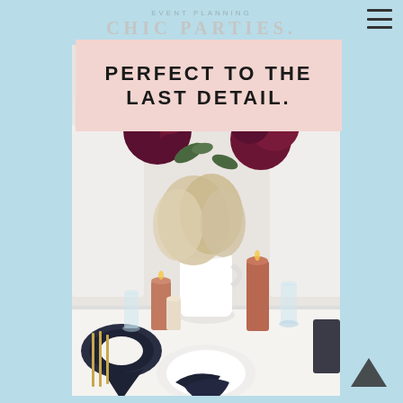EVENT PLANNING
CHIC PARTIES.
PERFECT TO THE LAST DETAIL.
[Figure (photo): A styled table setting featuring a white ceramic pitcher filled with dried cream and burgundy flowers including peonies and ranunculus. The table has dark navy folded napkins, terracotta/rust-colored pillar candles, white plates, and gold cutlery arranged on a white tablecloth.]